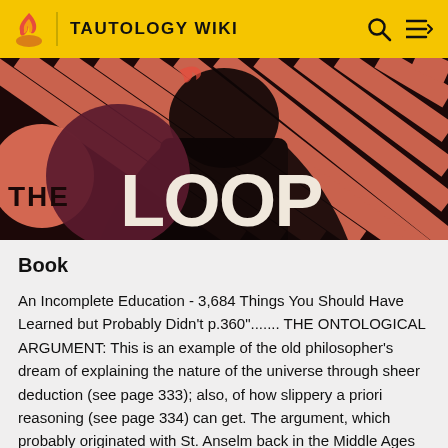TAUTOLOGY WIKI
[Figure (illustration): Banner image showing 'THE LOOP' text logo on a dark background with salmon/pink diagonal stripe pattern. A hooded figure appears in the center. A large circular maroon shape and salmon circle are visible on the left side.]
Book
An Incomplete Education - 3,684 Things You Should Have Learned but Probably Didn't p.360"....... THE ONTOLOGICAL ARGUMENT: This is an example of the old philosopher's dream of explaining the nature of the universe through sheer deduction (see page 333); also, of how slippery a priori reasoning (see page 334) can get. The argument, which probably originated with St. Anselm back in the Middle Ages and which hit its peak with Descartes,